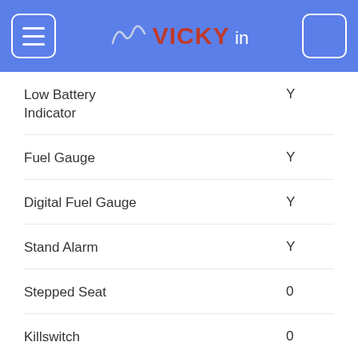vicky.in
| Feature | Value |
| --- | --- |
| Low Battery Indicator | Y |
| Fuel Gauge | Y |
| Digital Fuel Gauge | Y |
| Stand Alarm | Y |
| Stepped Seat | 0 |
| Killswitch | 0 |
Other Used Honda CB Hornet 160R Bikes Available in Mallapuram